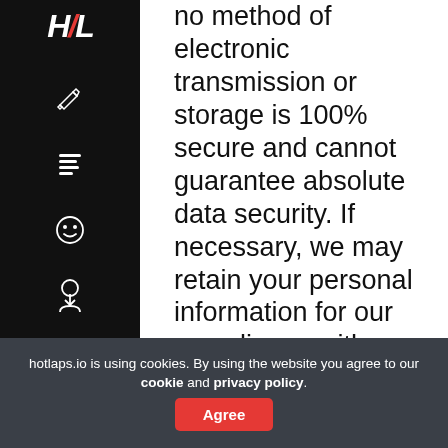[Figure (logo): HL logo in white italic bold text on black sidebar, with red accent on L]
[Figure (other): Sidebar navigation icons: pencil/edit, list, smiley face, download/user, notification bell]
no method of electronic transmission or storage is 100% secure and cannot guarantee absolute data security. If necessary, we may retain your personal information for our compliance with a legal obligation or in order to protect your vital interests or the vital interests of another natural person.
hotlaps.io is using cookies. By using the website you agree to our cookie and privacy policy.